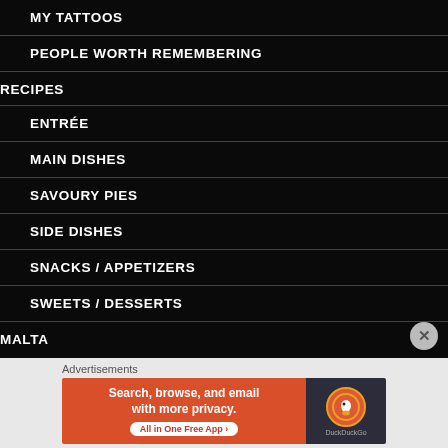MY TATTOOS
PEOPLE WORTH REMEMBERING
RECIPES
ENTRÉE
MAIN DISHES
SAVOURY PIES
SIDE DISHES
SNACKS / APPETIZERS
SWEETS / DESSERTS
MALTA
Advertisements
[Figure (screenshot): DuckDuckGo advertisement banner: 'Search, browse, and email with more privacy. All in One Free App' on orange background with DuckDuckGo logo on dark background]